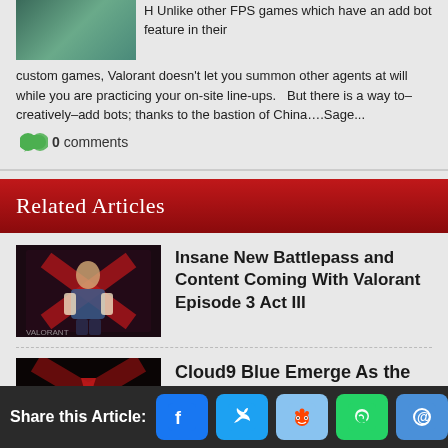[Figure (screenshot): Game screenshot showing esports players on stage with green background]
H Unlike other FPS games which have an add bot feature in their custom games, Valorant doesn't let you summon other agents at will while you are practicing your on-site line-ups.  But there is a way to–creatively–add bots; thanks to the bastion of China….Sage...
0 comments
Related Articles
[Figure (photo): Valorant character artwork for Episode 3 Act III battlepass article]
Insane New Battlepass and Content Coming With Valorant Episode 3 Act III
[Figure (photo): Valorant logo/scene for Cloud9 Blue article]
Cloud9 Blue Emerge As the
Share this Article: